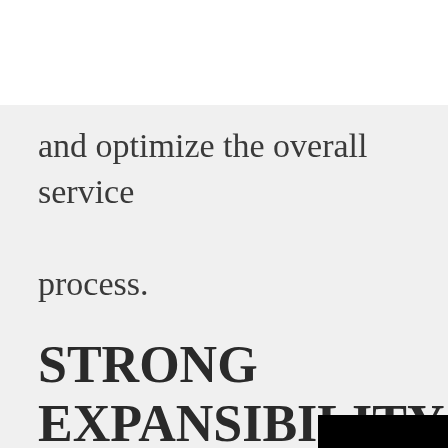and optimize the overall service process.
STRONG EXPANSIBILITY
Provide standard open interface based on HTTP to seamlessly